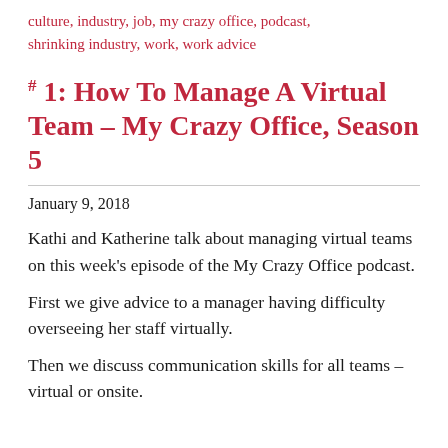culture, industry, job, my crazy office, podcast, shrinking industry, work, work advice
#1: How To Manage A Virtual Team – My Crazy Office, Season 5
January 9, 2018
Kathi and Katherine talk about managing virtual teams on this week's episode of the My Crazy Office podcast.
First we give advice to a manager having difficulty overseeing her staff virtually.
Then we discuss communication skills for all teams – virtual or onsite.